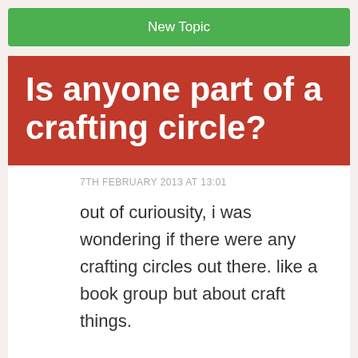New Topic
Is anyone part of a crafting circle?
7TH FEBRUARY 2013 AT 13:01
out of curiousity, i was wondering if there were any crafting circles out there. like a book group but about craft things.

Also, if anyone thinks it sounds like a good idea and would like to be part of one (preferably Berkshire and